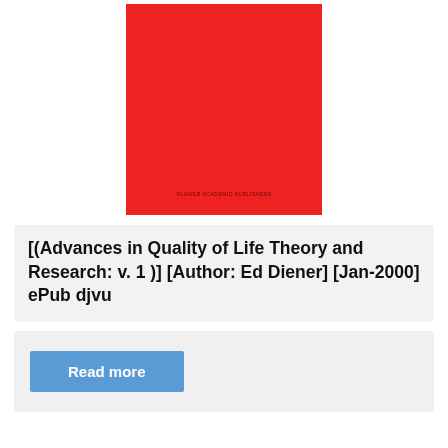[Figure (illustration): Book cover with solid red background and small dark red text at the bottom center reading 'KLUWER ACADEMIC PUBLISHERS']
[(Advances in Quality of Life Theory and Research: v. 1 )] [Author: Ed Diener] [Jan-2000] ePub djvu
Read more